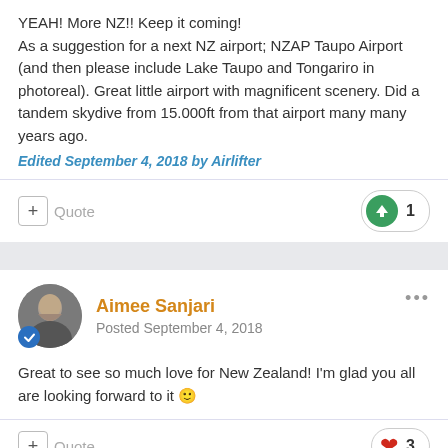YEAH! More NZ!! Keep it coming!
As a suggestion for a next NZ airport; NZAP Taupo Airport (and then please include Lake Taupo and Tongariro in photoreal). Great little airport with magnificent scenery. Did a tandem skydive from 15.000ft from that airport many many years ago.
Edited September 4, 2018 by Airlifter
Quote | 1 upvote
Aimee Sanjari
Posted September 4, 2018
Great to see so much love for New Zealand! I'm glad you all are looking forward to it 🙂
Quote | 3 hearts